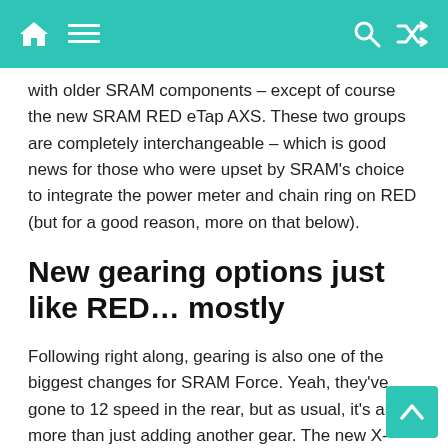Navigation bar with home, menu, search, and shuffle icons
with older SRAM components – except of course the new SRAM RED eTap AXS. These two groups are completely interchangeable – which is good news for those who were upset by SRAM's choice to integrate the power meter and chain ring on RED (but for a good reason, more on that below).
New gearing options just like RED… mostly
Following right along, gearing is also one of the biggest changes for SRAM Force. Yeah, they've gone to 12 speed in the rear, but as usual, it's about more than just adding another gear. The new X-Range gearing ends up wider on both ends while the added cog results in better gear progression. The addition of the 10t cog allows for an increase in gear range without an increase in overall size of the drivetrain package with SRAM pointing out that smaller